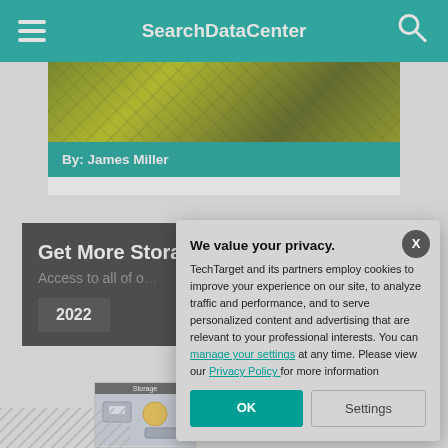SearchDataCenter
[Figure (screenshot): Article card with green/dark background image and teal byline bar reading 'By: James Miller']
By: James Miller
Get More Stora...
Access to all of o...
2022
[Figure (screenshot): Storage thumbnail image]
We value your privacy.
TechTarget and its partners employ cookies to improve your experience on our site, to analyze traffic and performance, and to serve personalized content and advertising that are relevant to your professional interests. You can manage your settings at any time. Please view our Privacy Policy for more information
OK
Settings